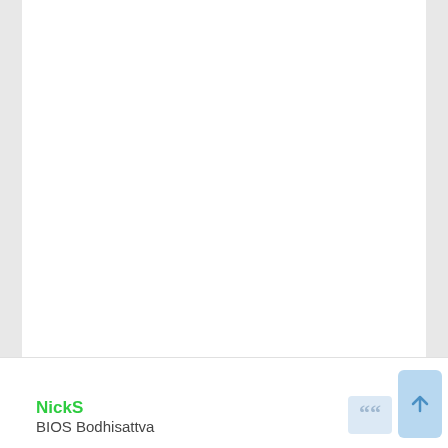[Figure (screenshot): White card area taking up most of the page, representing a content area in a web or app UI]
NickS
BIOS Bodhisattva